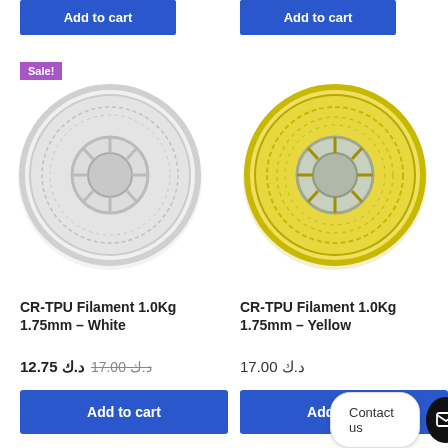[Figure (other): Two Add to cart blue buttons at the top of the page]
[Figure (photo): White translucent 3D printer filament spool (CR-TPU 1.0Kg 1.75mm White) with Sale badge]
[Figure (photo): Yellow 3D printer filament spool (CR-TPU 1.0Kg 1.75mm Yellow)]
CR-TPU Filament 1.0Kg 1.75mm – White
CR-TPU Filament 1.0Kg 1.75mm – Yellow
د.ك 12.75  د.ك 17.00
د.ك 17.00
Add to cart
Contact us